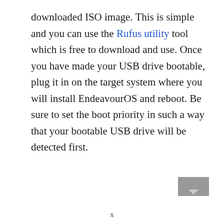downloaded ISO image. This is simple and you can use the Rufus utility tool which is free to download and use. Once you have made your USB drive bootable, plug it in on the target system where you will install EndeavourOS and reboot. Be sure to set the boot priority in such a way that your bootable USB drive will be detected first.
x